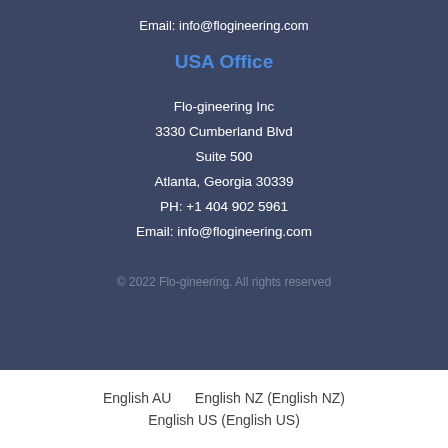Email: info@flogineering.com
USA Office
Flo-gineering Inc
3330 Cumberland Blvd
Suite 500
Atlanta, Georgia 30339
PH: +1 404 902 5961
Email: info@flogineering.com
© 2022 Flo-gineering. All rights reserved
English AU    English NZ (English NZ)    English US (English US)